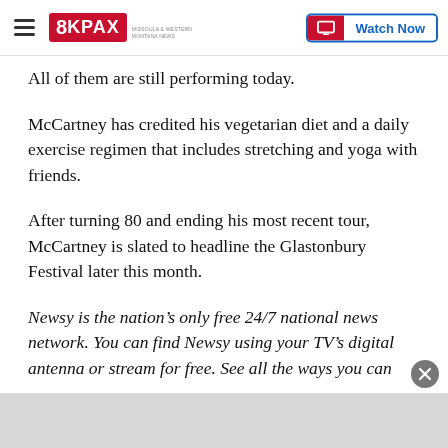8KPAX | Watch Now
All of them are still performing today.
McCartney has credited his vegetarian diet and a daily exercise regimen that includes stretching and yoga with friends.
After turning 80 and ending his most recent tour, McCartney is slated to headline the Glastonbury Festival later this month.
Newsy is the nation’s only free 24/7 national news network. You can find Newsy using your TV’s digital antenna or stream for free. See all the ways you can